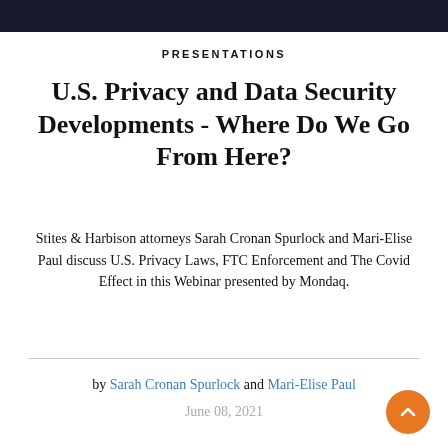[Figure (other): Dark header image/banner at top of page]
PRESENTATIONS
U.S. Privacy and Data Security Developments - Where Do We Go From Here?
Stites & Harbison attorneys Sarah Cronan Spurlock and Mari-Elise Paul discuss U.S. Privacy Laws, FTC Enforcement and The Covid Effect in this Webinar presented by Mondaq.
by Sarah Cronan Spurlock and Mari-Elise Paul
June 08, 2021